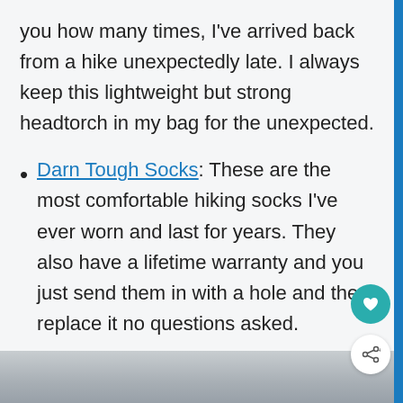you how many times, I've arrived back from a hike unexpectedly late. I always keep this lightweight but strong headtorch in my bag for the unexpected.
Darn Tough Socks: These are the most comfortable hiking socks I've ever worn and last for years. They also have a lifetime warranty and you just send them in with a hole and they replace it no questions asked.
[Figure (photo): Partial photo visible at bottom of page, appears to be an outdoor/nature scene with grey/silver tones]